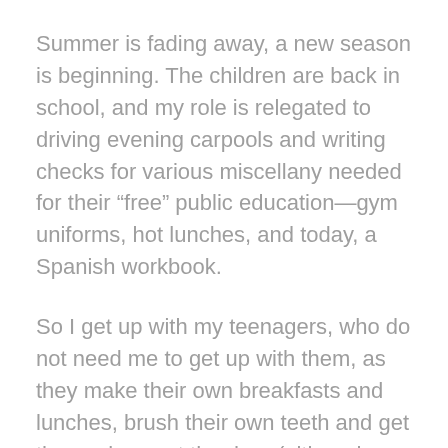Summer is fading away, a new season is beginning. The children are back in school, and my role is relegated to driving evening carpools and writing checks for various miscellany needed for their “free” public education—gym uniforms, hot lunches, and today, a Spanish workbook.
So I get up with my teenagers, who do not need me to get up with them, as they make their own breakfasts and lunches, brush their own teeth and get themselves out the door (although they do seem to need me to write those checks).
The return to routine helps me to get things done